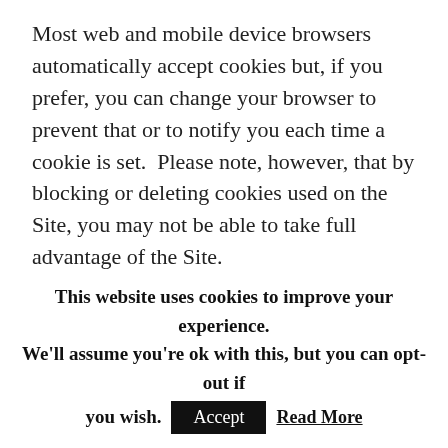Most web and mobile device browsers automatically accept cookies but, if you prefer, you can change your browser to prevent that or to notify you each time a cookie is set.  Please note, however, that by blocking or deleting cookies used on the Site, you may not be able to take full advantage of the Site.
Change of purpose
We will only use your personal data for the purposes for which we collected it, unless we
This website uses cookies to improve your experience. We'll assume you're ok with this, but you can opt-out if you wish. Accept Read More